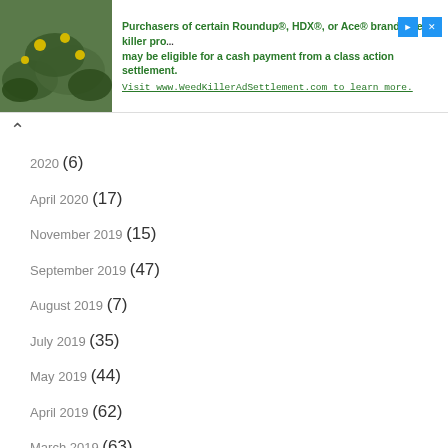[Figure (other): Advertisement banner with plant image and text about Roundup/HDX/Ace weed killer class action settlement]
2020 (6)
April 2020 (17)
November 2019 (15)
September 2019 (47)
August 2019 (7)
July 2019 (35)
May 2019 (44)
April 2019 (62)
March 2019 (63)
January 2019 (6)
December 2018 (29)
November 2018 (93)
October 2018 (41)
September 2018 (76)
August 2018 (82)